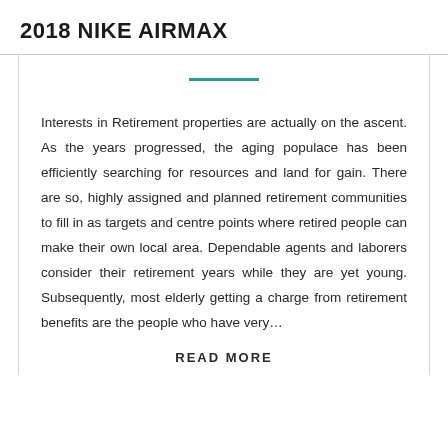2018 NIKE AIRMAX
Interests in Retirement properties are actually on the ascent. As the years progressed, the aging populace has been efficiently searching for resources and land for gain. There are so, highly assigned and planned retirement communities to fill in as targets and centre points where retired people can make their own local area. Dependable agents and laborers consider their retirement years while they are yet young. Subsequently, most elderly getting a charge from retirement benefits are the people who have very...
READ MORE